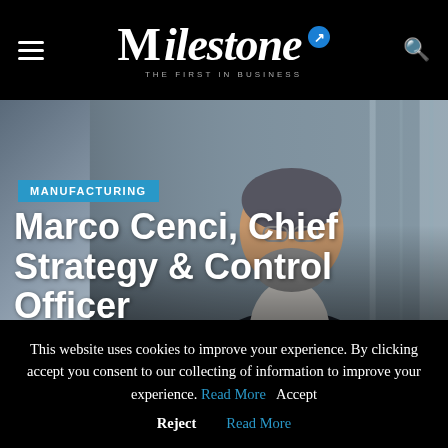☰ Milestone — THE FIRST IN BUSINESS 🔍
[Figure (photo): Professional man in dark suit jacket and white shirt, wearing glasses, smiling, photographed in front of a modern glass building]
MANUFACTURING
Marco Cenci, Chief Strategy & Control Officer @ De'Longhi Group
This website uses cookies to improve your experience. By clicking accept you consent to our collecting of information to improve your experience. Read More   Accept

Reject   Read More